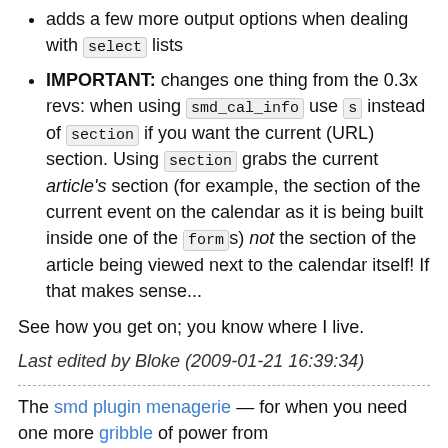adds a few more output options when dealing with select lists
IMPORTANT: changes one thing from the 0.3x revs: when using smd_cal_info use s instead of section if you want the current (URL) section. Using section grabs the current article's section (for example, the section of the current event on the calendar as it is being built inside one of the form s) not the section of the article being viewed next to the calendar itself! If that makes sense...
See how you get on; you know where I live.
Last edited by Bloke (2009-01-21 16:39:34)
The smd plugin menagerie — for when you need one more gribble of power from